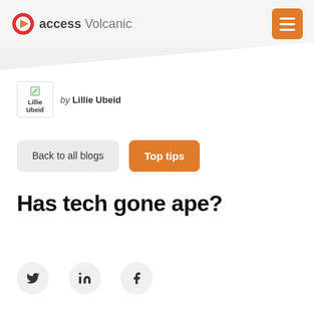access Volcanic
[Figure (logo): access Volcanic logo with red circle/arrow icon and hamburger menu button (orange)]
by Lillie Ubeid
Back to all blogs
Top tips
Has tech gone ape?
[Figure (infographic): Social sharing icons: Twitter (bird), LinkedIn (in), Facebook (f) in grey circles]